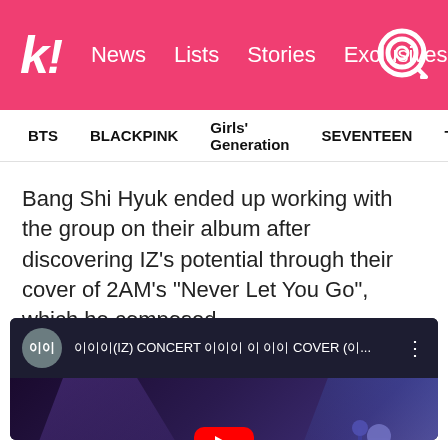k! News Lists Stories Exclusives
BTS  BLACKPINK  Girls' Generation  SEVENTEEN  TWICE
Bang Shi Hyuk ended up working with the group on their album after discovering IZ's potential through their cover of 2AM's “Never Let You Go”, which he composed.
[Figure (screenshot): YouTube video embed showing IZ (이이) concert cover video. Top bar with channel avatar showing 'O|O|', video title in Korean and English: '이이이(IZ) CONCERT 이이이 이 이이 COVER (이...' with a three-dot menu. Below is a dark concert stage scene with performers, overlaid with a red YouTube play button in the center.]